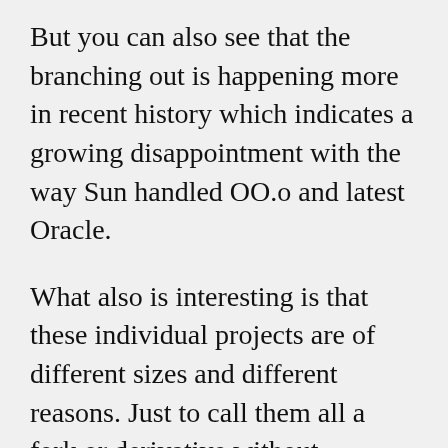But you can also see that the branching out is happening more in recent history which indicates a growing disappointment with the way Sun handled OO.o and latest Oracle.
What also is interesting is that these individual projects are of different sizes and different reasons. Just to call them all a fork or derivative without quantifying and qualifying is not giving the true picture of the situation.
Nevertheless i appreciate your data collection for the time line. That is